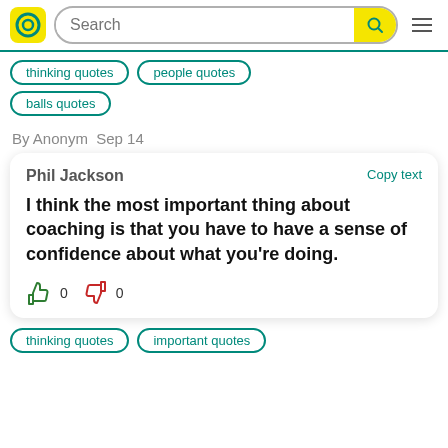Search
thinking quotes
people quotes
balls quotes
By Anonym  Sep 14
Phil Jackson
Copy text

I think the most important thing about coaching is that you have to have a sense of confidence about what you're doing.

👍 0 👎 0
thinking quotes
important quotes